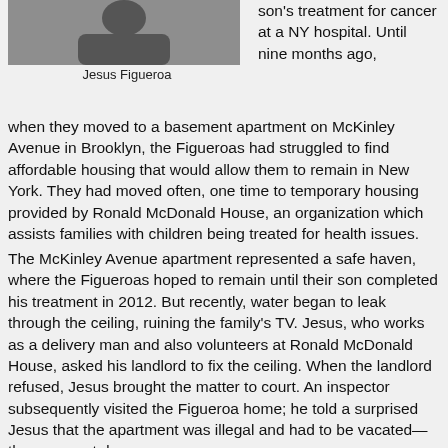[Figure (photo): Portrait photo of Jesus Figueroa, a man wearing a dark jacket]
Jesus Figueroa
son's treatment for cancer at a NY hospital. Until nine months ago, when they moved to a basement apartment on McKinley Avenue in Brooklyn, the Figueroas had struggled to find affordable housing that would allow them to remain in New York. They had moved often, one time to temporary housing provided by Ronald McDonald House, an organization which assists families with children being treated for health issues.
The McKinley Avenue apartment represented a safe haven, where the Figueroas hoped to remain until their son completed his treatment in 2012. But recently, water began to leak through the ceiling, ruining the family's TV. Jesus, who works as a delivery man and also volunteers at Ronald McDonald House, asked his landlord to fix the ceiling. When the landlord refused, Jesus brought the matter to court. An inspector subsequently visited the Figueroa home; he told a surprised Jesus that the apartment was illegal and had to be vacated—the very next day.